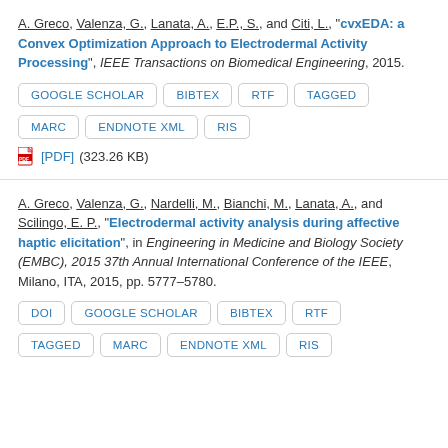A. Greco, Valenza, G., Lanata, A., E.P., S., and Citi, L., "cvxEDA: a Convex Optimization Approach to Electrodermal Activity Processing", IEEE Transactions on Biomedical Engineering, 2015.
GOOGLE SCHOLAR | BIBTEX | RTF | TAGGED | MARC | ENDNOTE XML | RIS
[PDF] (323.26 KB)
A. Greco, Valenza, G., Nardelli, M., Bianchi, M., Lanata, A., and Scilingo, E. P., "Electrodermal activity analysis during affective haptic elicitation", in Engineering in Medicine and Biology Society (EMBC), 2015 37th Annual International Conference of the IEEE, Milano, ITA, 2015, pp. 5777–5780.
DOI | GOOGLE SCHOLAR | BIBTEX | RTF | TAGGED | MARC | ENDNOTE XML | RIS